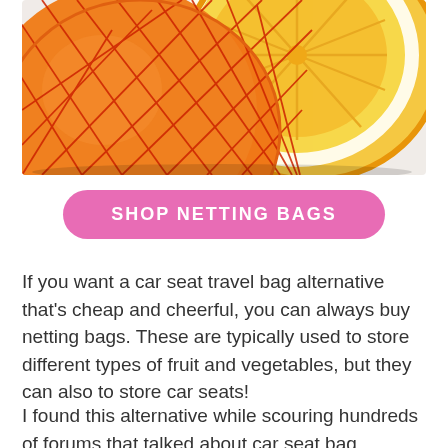[Figure (photo): Close-up photo of two oranges — one wrapped in a red mesh/netting bag on the left, one halved showing yellow flesh on the right, on a light background.]
SHOP NETTING BAGS
If you want a car seat travel bag alternative that's cheap and cheerful, you can always buy netting bags. These are typically used to store different types of fruit and vegetables, but they can also to store car seats!
I found this alternative while scouring hundreds of forums that talked about car seat bag